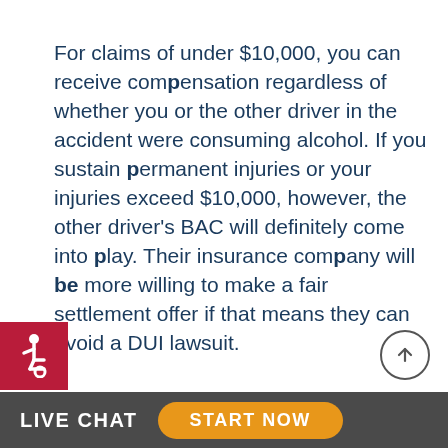For claims of under $10,000, you can receive compensation regardless of whether you or the other driver in the accident were consuming alcohol. If you sustain permanent injuries or your injuries exceed $10,000, however, the other driver's BAC will definitely come into play. Their insurance company will be more willing to make a fair settlement offer if that means they can avoid a DUI lawsuit.
[Figure (illustration): Accessibility icon (wheelchair symbol) in white on a dark red/crimson square background, bottom left corner]
[Figure (illustration): Scroll-to-top button: upward arrow inside a circle, bottom right area]
LIVE CHAT   START NOW